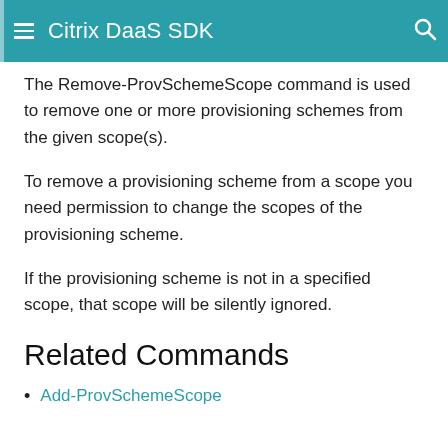Citrix DaaS SDK
The Remove-ProvSchemeScope command is used to remove one or more provisioning schemes from the given scope(s).
To remove a provisioning scheme from a scope you need permission to change the scopes of the provisioning scheme.
If the provisioning scheme is not in a specified scope, that scope will be silently ignored.
Related Commands
Add-ProvSchemeScope